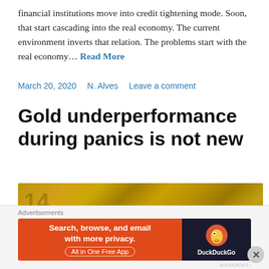financial institutions move into credit tightening mode. Soon, that start cascading into the real economy. The current environment inverts that relation. The problems start with the real economy... Read More
March 20, 2020    N. Alves    Leave a comment
Gold underperformance during panics is not new
[Figure (photo): Close-up photo of a gold bar with 'Pure Gold' text embossed on its surface]
Advertisements
[Figure (screenshot): DuckDuckGo advertisement banner: 'Search, browse, and email with more privacy. All in One Free App' with DuckDuckGo logo on dark background]